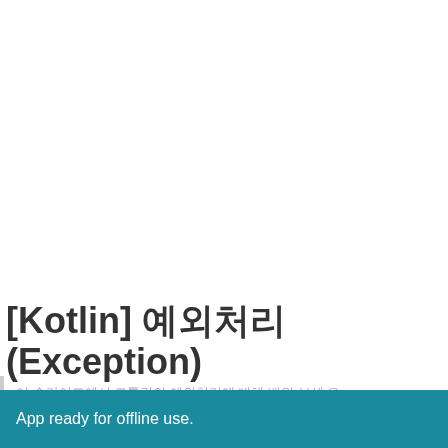[Kotlin] 예외처리(Exception)
이 슬라이드에서 코틀린의 예외처리에 대해 배워 보세 요
App ready for offline use.